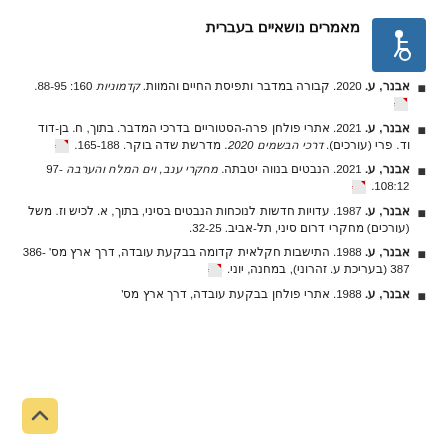מאמרים נושאיים בעברית
[Figure (logo): Accessibility wheelchair icon in blue square]
אבנר, ע. 2020. קבורה במדבר ותפיסת החיים והמוות. קדמוניות 160: 88-95.
אבנר, ע. 2021. אתרי פולחן פרה-הסטוריים בדרכי המדבר. בתוך, ח. בן-דוד וד. פרי (עורכים). דרכי הבשמים 2020. מדרשת שדה בוקר. 165-188.
אבנר, ע. 2021. הנבטים בנווה יטבתה. מחקרי ענב, וים המלח והערבה 97-108:12.
אבנר, ע. 1987. עדויות חדשות לנוכחות הנבטים בסיני, בתוך, א. לכיש וז. משל (עורכים) מחקרי דרום סיני, תל-אביב. 32-25.
אבנר, ע. 1988. התישבות חקלאית קדומה בבקעת עובדה, דרך ארץ מס' 386-387 (בעריכת ע. זהרוני), במחנה, יוני.
אבנר, ע. 1988. אתרי פולחן בבקעת עובדה, דרך ארץ מס'